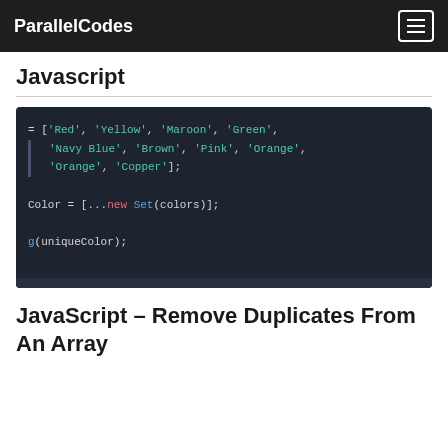ParallelCodes
Javascript
[Figure (screenshot): Dark-themed code editor screenshot showing JavaScript code with colored syntax highlighting. Code shows: = ['Red', 'Yellow', 'Maroon', 'Green', 'Navy Blue', 'Brown', 'Pink', 'Orange', 'Orange', 'Copper']; Color = [...new Set(colors)]; g(uniqueColor);]
JavaScript – Remove Duplicates From An Array